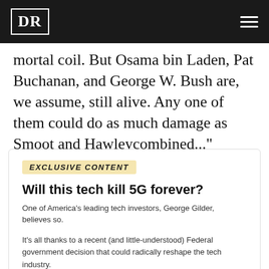DR
mortal coil. But Osama bin Laden, Pat Buchanan, and George W. Bush are, we assume, still alive. Any one of them could do as much damage as Smoot and Hawleycombined..."
EXCLUSIVE CONTENT
Will this tech kill 5G forever?
One of America's leading tech investors, George Gilder, believes so.
It's all thanks to a recent (and little-understood) Federal government decision that could radically reshape the tech industry.